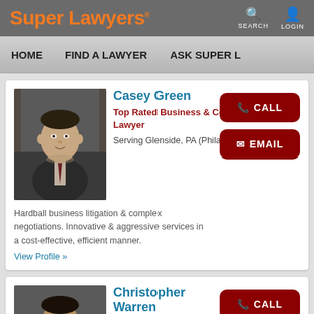Super Lawyers
HOME   FIND A LAWYER   ASK SUPER L
Casey Green
Top Rated Business & Commercial Law Lawyer
Serving Glenside, PA (Philadelphia, PA)
Hardball business litigation & complex negotiations. Innovative & aggressive services in a cost-effective, efficient manner.
View Profile »
Christopher Warren
Top Rated Business & Commercial Law Lawyer
Serving Glenside, PA (New York, NY)